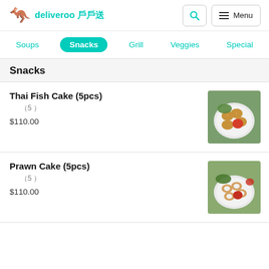deliveroo 戶戶送
Soups
Snacks
Grill
Veggies
Special
Snacks
Thai Fish Cake (5pcs)
（5 ）
$110.00
[Figure (photo): Thai fish cakes on a white plate with dipping sauce and garnish]
Prawn Cake (5pcs)
（5 ）
$110.00
[Figure (photo): Prawn cakes on a white plate with dipping sauce and garnish]